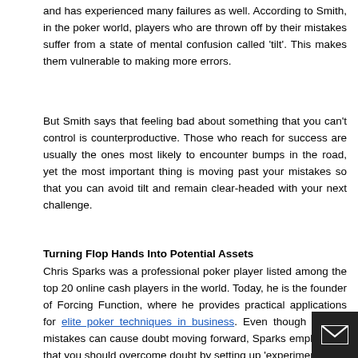and has experienced many failures as well. According to Smith, in the poker world, players who are thrown off by their mistakes suffer from a state of mental confusion called 'tilt'. This makes them vulnerable to making more errors.
But Smith says that feeling bad about something that you can't control is counterproductive. Those who reach for success are usually the ones most likely to encounter bumps in the road, yet the most important thing is moving past your mistakes so that you can avoid tilt and remain clear-headed with your next challenge.
Turning Flop Hands Into Potential Assets
Chris Sparks was a professional poker player listed among the top 20 online cash players in the world. Today, he is the founder of Forcing Function, where he provides practical applications for elite poker techniques in business. Even though making mistakes can cause doubt moving forward, Sparks emphasises that you should overcome doubt by setting up 'experiments'.
These experiments involve going with a decision, and acting though it's the correct one. As time goes by, keep track of how t decisions have fared against your initial expectations. Sparks s that often, what happens is that you find that your vision will begin to